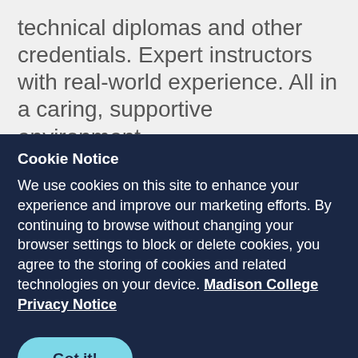technical diplomas and other credentials. Expert instructors with real-world experience. All in a caring, supportive environment.
Seriously, who wouldn't want to enroll
Cookie Notice
We use cookies on this site to enhance your experience and improve our marketing efforts. By continuing to browse without changing your browser settings to block or delete cookies, you agree to the storing of cookies and related technologies on your device. Madison College Privacy Notice
Got it!